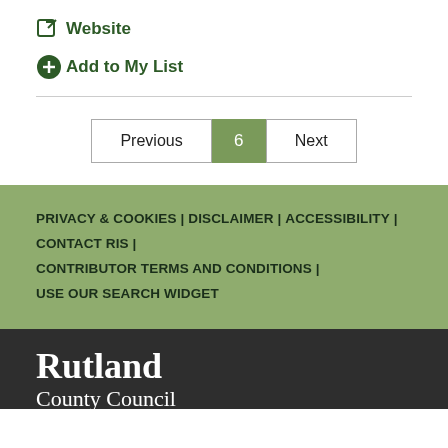Website
Add to My List
Previous  6  Next
PRIVACY & COOKIES | DISCLAIMER | ACCESSIBILITY | CONTACT RIS | CONTRIBUTOR TERMS AND CONDITIONS | USE OUR SEARCH WIDGET
[Figure (logo): Rutland County Council logo in white text on dark background]